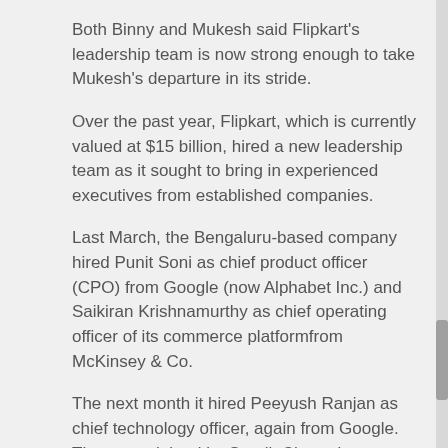Both Binny and Mukesh said Flipkart's leadership team is now strong enough to take Mukesh's departure in its stride.
Over the past year, Flipkart, which is currently valued at $15 billion, hired a new leadership team as it sought to bring in experienced executives from established companies.
Last March, the Bengaluru-based company hired Punit Soni as chief product officer (CPO) from Google (now Alphabet Inc.) and Saikiran Krishnamurthy as chief operating officer of its commerce platformfrom McKinsey & Co.
The next month it hired Peeyush Ranjan as chief technology officer, again from Google. They were joined by Surojit Chatterjee as customer experience head and several other senior leaders.
These executives came in as several Flipkart old-timers left. Over a period of four months in the middle of last year, seven senior Flipkart leaders quit the company. These included Ravi Vora, CEO of Flipkart's strategic brands group; chief technology officer Amod Malviya; engineering head Sameer Nigam; logistics head Sujeet Kumar and chief people officer Mekin Maheshwari.